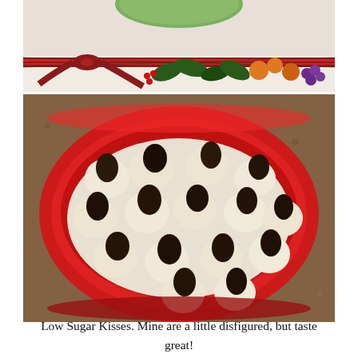[Figure (photo): Close-up of a decorative Christmas plate with festive fruit and ribbon design, partial view of a green item at top]
[Figure (photo): A red bowl filled with low sugar kiss cookies — round pale shortbread cookies each topped with a dark chocolate Hershey's Kiss, sitting on a granite countertop]
Low Sugar Kisses. Mine are a little disfigured, but taste great!